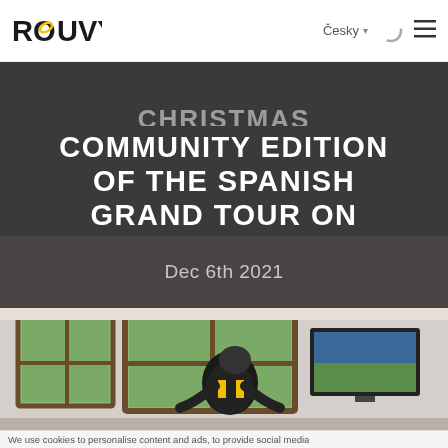ROUVY | Česky ▾ ↻ ≡
CHRISTMAS COMMUNITY EDITION OF THE SPANISH GRAND TOUR ON ROUVY
Dec 6th 2021
[Figure (photo): Person in cycling jersey bent over a bicycle trainer indoors, with windows showing trees outside and a TV screen on the wall]
We use cookies to personalise content and ads, to provide social media